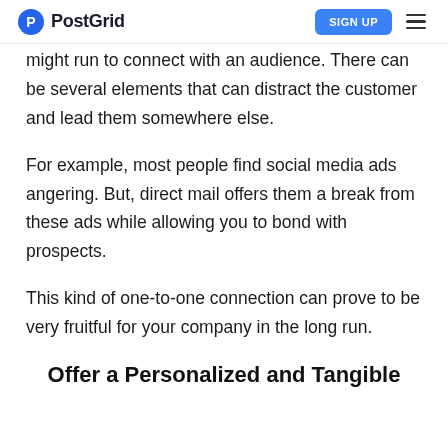PostGrid | SIGN UP
might run to connect with an audience. There can be several elements that can distract the customer and lead them somewhere else.
For example, most people find social media ads angering. But, direct mail offers them a break from these ads while allowing you to bond with prospects.
This kind of one-to-one connection can prove to be very fruitful for your company in the long run.
Offer a Personalized and Tangible